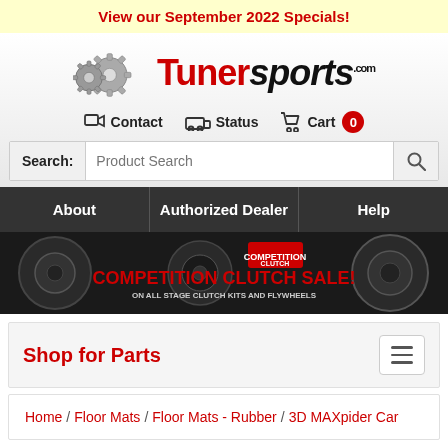View our September 2022 Specials!
[Figure (logo): TunerSports.com logo with gear icons]
Contact  Status  Cart 0
Search: Product Search
About | Authorized Dealer | Help
[Figure (photo): Competition Clutch Sale banner - clutch kits and flywheels on dark background with red text: COMPETITION CLUTCH SALE! ON ALL STAGE CLUTCH KITS AND FLYWHEELS]
Shop for Parts
Home / Floor Mats / Floor Mats - Rubber / 3D MAXpider Car